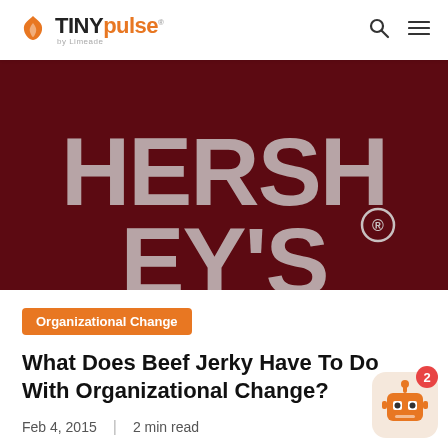TINYpulse by Limeade
[Figure (logo): Hershey's logo — large silver/grey block letters 'HERSHEY'S' with registered trademark symbol on a dark maroon/burgundy background]
Organizational Change
What Does Beef Jerky Have To Do With Organizational Change?
Feb 4, 2015 | 2 min read